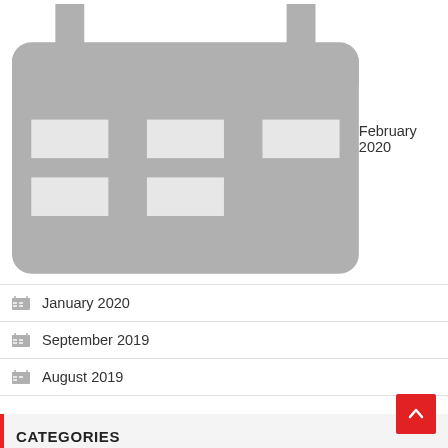February 2020
January 2020
September 2019
August 2019
CATEGORIES
Review
Tutorial
Uncategorized